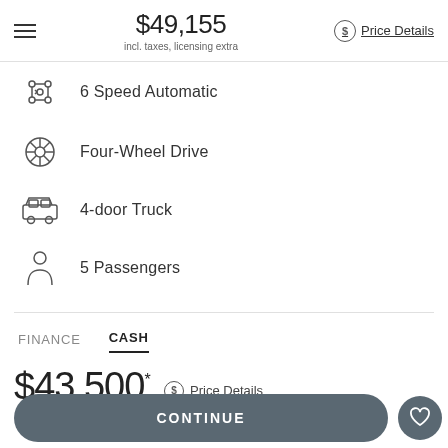$49,155 incl. taxes, licensing extra Price Details
6 Speed Automatic
Four-Wheel Drive
4-door Truck
5 Passengers
FINANCE   CASH
$43,500* Price Details
CONTINUE